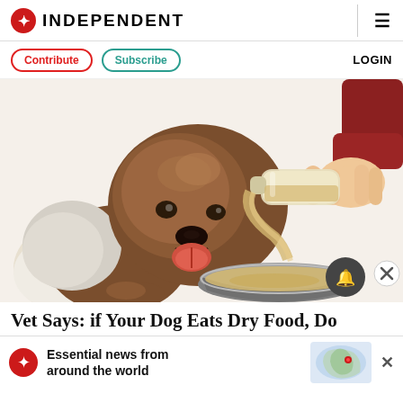INDEPENDENT
Contribute  Subscribe  LOGIN
[Figure (illustration): Illustration of a fluffy brown and white dog with tongue out, looking at a bowl while a human hand pours a liquid from a glass bottle into the bowl.]
Vet Says: if Your Dog Eats Dry Food, Do This Every Day
Essential news from around the world